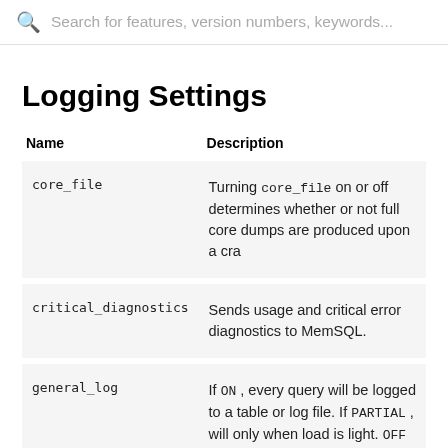Search for features, version numbers, keywords...
Logging Settings
| Name | Description |
| --- | --- |
| core_file | Turning core_file on or off determines whether or not full core dumps are produced upon a crash. |
| critical_diagnostics | Sends usage and critical error diagnostics to MemSQL. |
| general_log | If ON , every query will be logged to a table or log file. If PARTIAL , will log only when load is light. OFF turns off logging. |
| ... | ... |